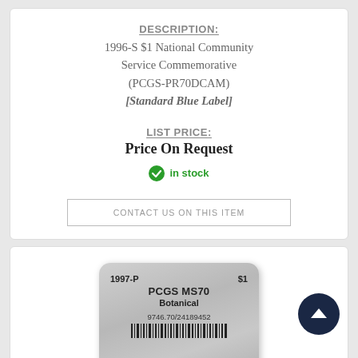DESCRIPTION:
1996-S $1 National Community Service Commemorative (PCGS-PR70DCAM) [Standard Blue Label]
LIST PRICE:
Price On Request
in stock
CONTACT US ON THIS ITEM
[Figure (photo): PCGS graded coin slab showing 1997-P $1 PCGS MS70 Botanical coin, serial number 9746.70/24189452 with barcode]